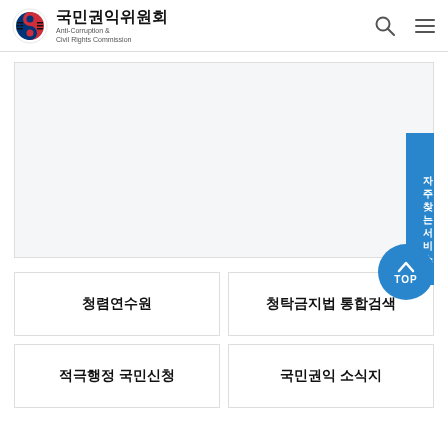국민권익위원회 Anti-Corruption & Civil Rights Commission
[Figure (screenshot): Website banner area - light gray placeholder banner]
자주찾는 서비스
청렴연수원
청탁금지법 통합검색
적극행정 국민신청
국민권익 소식지